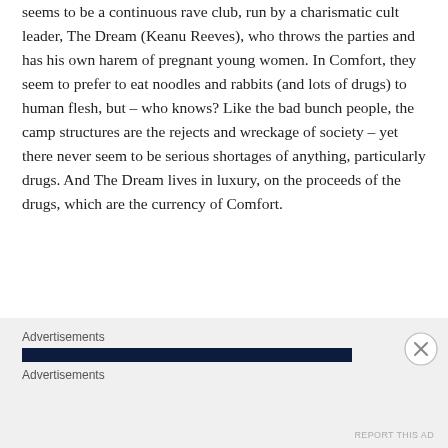seems to be a continuous rave club, run by a charismatic cult leader, The Dream (Keanu Reeves), who throws the parties and has his own harem of pregnant young women. In Comfort, they seem to prefer to eat noodles and rabbits (and lots of drugs) to human flesh, but – who knows? Like the bad bunch people, the camp structures are the rejects and wreckage of society – yet there never seem to be serious shortages of anything, particularly drugs. And The Dream lives in luxury, on the proceeds of the drugs, which are the currency of Comfort.
[Figure (other): Advertisement section with dark navy bar, two 'Advertisements' labels, and a close (X) button on the right.]